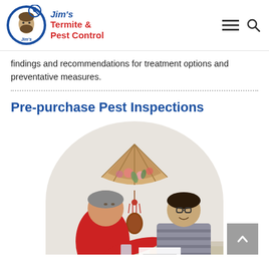Jim's Termite & Pest Control
findings and recommendations for treatment options and preventative measures.
Pre-purchase Pest Inspections
[Figure (photo): Two men sitting at a table, one in a red shirt showing documents to the other who is wearing glasses and a striped shirt. A decorative fan and ornament hang on the wall behind them.]